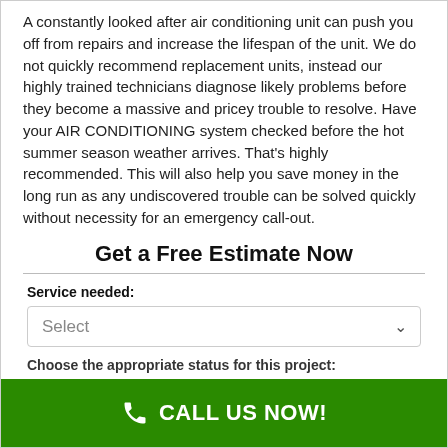A constantly looked after air conditioning unit can push you off from repairs and increase the lifespan of the unit. We do not quickly recommend replacement units, instead our highly trained technicians diagnose likely problems before they become a massive and pricey trouble to resolve. Have your AIR CONDITIONING system checked before the hot summer season weather arrives. That's highly recommended. This will also help you save money in the long run as any undiscovered trouble can be solved quickly without necessity for an emergency call-out.
Get a Free Estimate Now
Service needed:
Select
Choose the appropriate status for this project:
CALL US NOW!